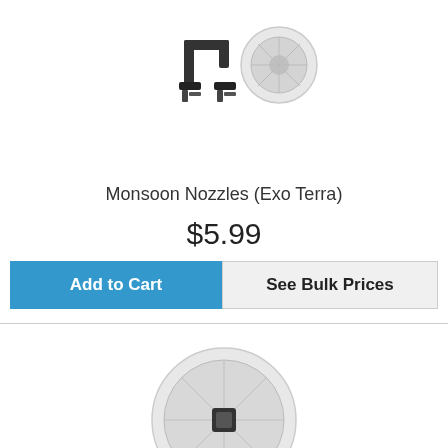[Figure (photo): Monsoon nozzle product photo showing black plastic nozzle hardware with a clear suction cup]
Monsoon Nozzles (Exo Terra)
$5.99
Add to Cart
See Bulk Prices
[Figure (photo): Clear plastic suction cup with black center clip, product photo on white background]